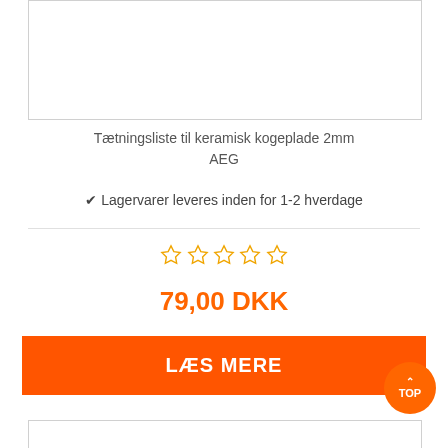[Figure (photo): Product image placeholder box (top), empty white rectangle with border]
Tætningsliste til keramisk kogeplade 2mm AEG
✔ Lagervarer leveres inden for 1-2 hverdage
☆ ☆ ☆ ☆ ☆ (5 empty stars)
79,00 DKK
LÆS MERE
TOP
[Figure (photo): Product image placeholder box (bottom), empty white rectangle with border]